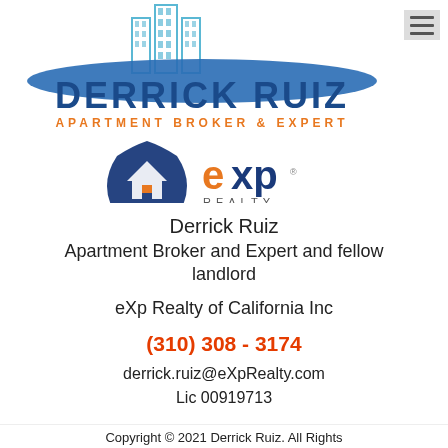[Figure (logo): Derrick Ruiz Apartment Broker & Expert logo with eXp Realty logo — shows stylized blue city buildings above a blue arc, large blue text 'DERRICK RUIZ', orange text 'APARTMENT BROKER & EXPERT', and eXp Realty badge with house icon]
Derrick Ruiz
Apartment Broker and Expert and fellow landlord
eXp Realty of California Inc
(310) 308 - 3174
derrick.ruiz@eXpRealty.com
Lic 00919713
Copyright © 2021 Derrick Ruiz. All Rights